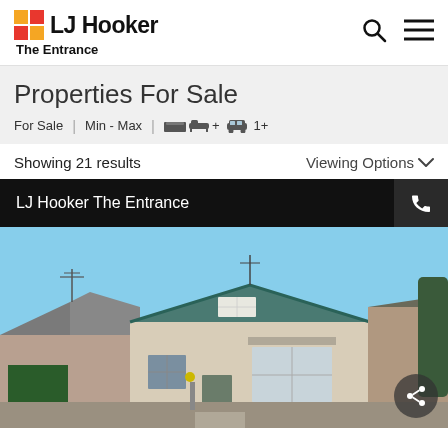LJ Hooker The Entrance
Properties For Sale
For Sale | Min - Max | bed + car 1+
Showing 21 results
Viewing Options
LJ Hooker The Entrance
[Figure (photo): Exterior photo of a residential property showing brick and weatherboard houses with green roofing trim under a blue sky]